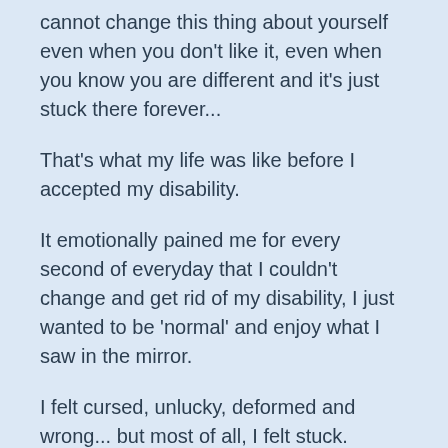cannot change this thing about yourself even when you don't like it, even when you know you are different and it's just stuck there forever...
That's what my life was like before I accepted my disability.
It emotionally pained me for every second of everyday that I couldn't change and get rid of my disability, I just wanted to be 'normal' and enjoy what I saw in the mirror.
I felt cursed, unlucky, deformed and wrong... but most of all, I felt stuck.
This was my identity that I was stuck with.